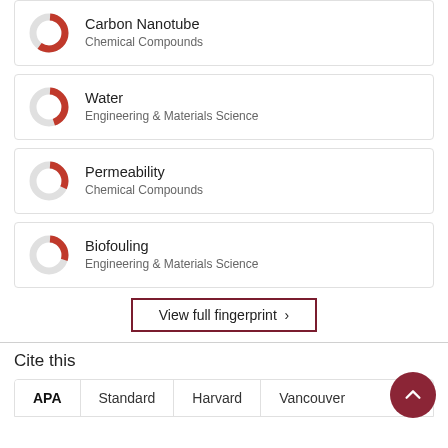[Figure (donut-chart): Donut chart for Carbon Nanotube, Chemical Compounds]
Carbon Nanotube
Chemical Compounds
[Figure (donut-chart): Donut chart for Water, Engineering & Materials Science]
Water
Engineering & Materials Science
[Figure (donut-chart): Donut chart for Permeability, Chemical Compounds]
Permeability
Chemical Compounds
[Figure (donut-chart): Donut chart for Biofouling, Engineering & Materials Science]
Biofouling
Engineering & Materials Science
View full fingerprint ›
Cite this
APA   Standard   Harvard   Vancouver